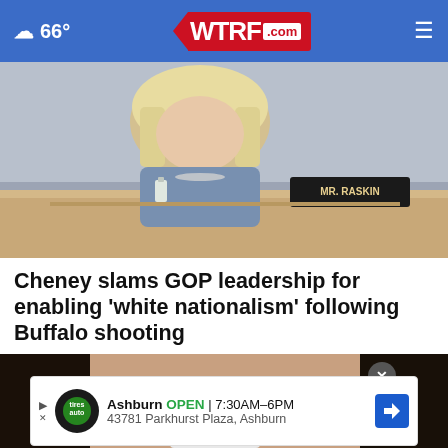☁ 66° | WTRF.com
[Figure (photo): Blonde woman seated at a congressional hearing desk with a nameplate, wearing a blue jacket and pearl necklace]
Cheney slams GOP leadership for enabling 'white nationalism' following Buffalo shooting
[Figure (photo): Close-up of a dark-haired woman wiping her eye with a tissue, appearing to cry]
Ashburn OPEN 7:30AM–6PM 43781 Parkhurst Plaza, Ashburn